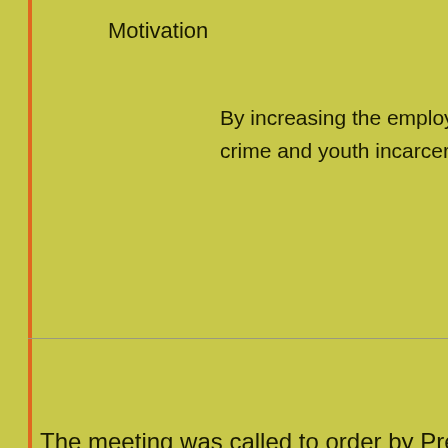Motivation
By increasing the employability, self-esteem, a crime and youth incarceration costs while incre
Enjoy
[Contact at:
La
The meeting was called to order by President Frank Ramsay